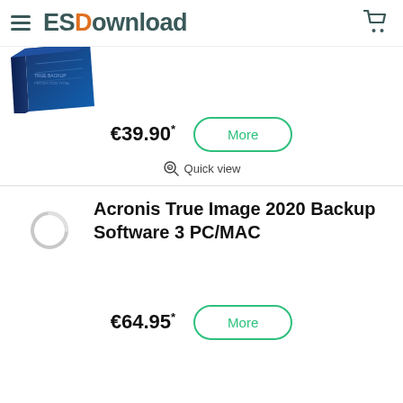ESDownload
[Figure (photo): Partial product box image for a backup software, blue packaging, cut off at top]
€39.90*
More
Quick view
Acronis True Image 2020 Backup Software 3 PC/MAC
[Figure (other): Loading spinner / placeholder circle for product image]
€64.95*
More